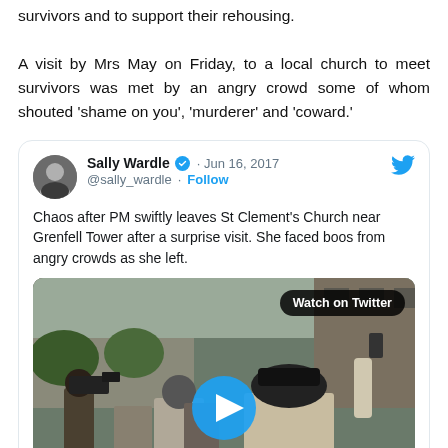survivors and to support their rehousing. A visit by Mrs May on Friday, to a local church to meet survivors was met by an angry crowd some of whom shouted ‘shame on you’, ‘murderer’ and ‘coward.’
[Figure (screenshot): Embedded tweet from Sally Wardle (@sally_wardle), Jun 16, 2017, with text: 'Chaos after PM swiftly leaves St Clement's Church near Grenfell Tower after a surprise visit. She faced boos from angry crowds as she left.' Includes a video thumbnail showing a crowd scene with a blue play button and a 'Watch on Twitter' badge.]